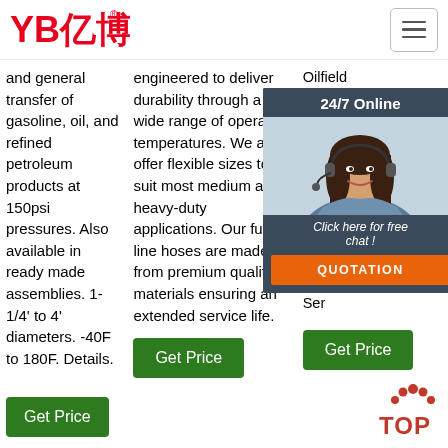[Figure (logo): YB亿博 logo in red text with registered trademark symbol]
[Figure (illustration): Hamburger menu icon (three horizontal lines) in a rounded rectangle border]
and general transfer of gasoline, oil, and refined petroleum products at 150psi pressures. Also available in ready made assemblies. 1-1/4' to 4' diameters. -40F to 180F. Details.
Get Price
engineered to deliver durability through a wide range of operating temperatures. We also offer flexible sizes to suit most medium and heavy-duty applications. Our fuel line hoses are made from premium quality materials ensuring an extended service life.
Get Price
Oilfield Sud Hos tran was slud wat oilfi rec app 185 Ser
[Figure (photo): 24/7 Online chat popup with photo of smiling woman with headset, dark blue background, text 'Click here for free chat!' and orange QUOTATION button]
Get Price
[Figure (illustration): TOP button with red dots arc above and red text TOP]